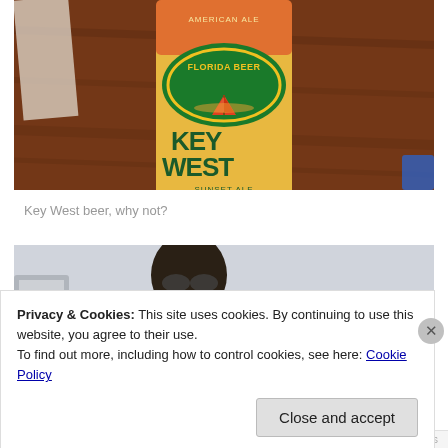[Figure (photo): Photo of a Florida Beer Key West Sunset Ale bottle on a wooden table surface]
Key West beer, why not?
[Figure (photo): Partially visible photo of a person wearing sunglasses, background is sky]
Privacy & Cookies: This site uses cookies. By continuing to use this website, you agree to their use.
To find out more, including how to control cookies, see here: Cookie Policy
Close and accept